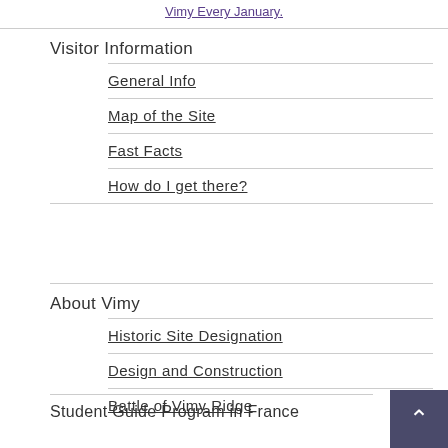Vimy Every January
Visitor Information
General Info
Map of the Site
Fast Facts
How do I get there?
About Vimy
Historic Site Designation
Design and Construction
Battle of Vimy Ridge
Student Guide Program in France